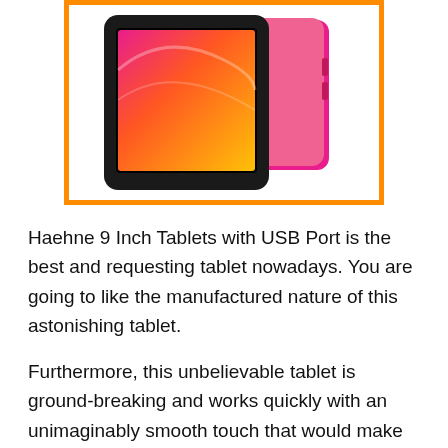[Figure (photo): A Haehne 9 inch tablet shown from the front (black bezel with colorful gradient screen) with a pink case/cover behind it, displayed inside an orange-bordered white frame.]
Haehne 9 Inch Tablets with USB Port is the best and requesting tablet nowadays. You are going to like the manufactured nature of this astonishing tablet.
Furthermore, this unbelievable tablet is ground-breaking and works quickly with an unimaginably smooth touch that would make you need to utilize it to an ever-increasing extent.